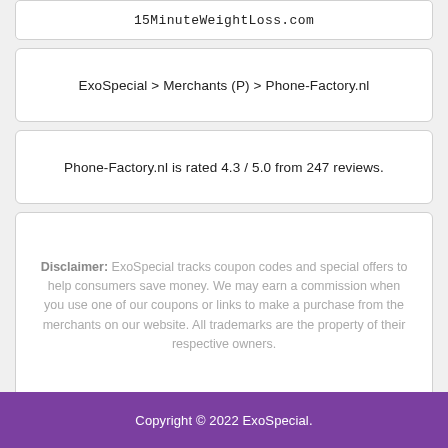15MinuteWeightLoss.com
ExoSpecial > Merchants (P) > Phone-Factory.nl
Phone-Factory.nl is rated 4.3 / 5.0 from 247 reviews.
Disclaimer: ExoSpecial tracks coupon codes and special offers to help consumers save money. We may earn a commission when you use one of our coupons or links to make a purchase from the merchants on our website. All trademarks are the property of their respective owners.
Copyright © 2022 ExoSpecial.